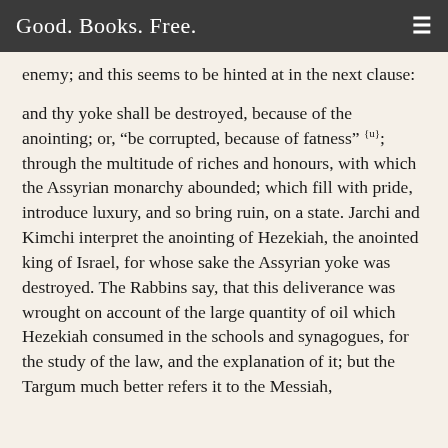Good. Books. Free.
enemy; and this seems to be hinted at in the next clause:
and thy yoke shall be destroyed, because of the anointing; or, “be corrupted, because of fatness” {u}; through the multitude of riches and honours, with which the Assyrian monarchy abounded; which fill with pride, introduce luxury, and so bring ruin, on a state. Jarchi and Kimchi interpret the anointing of Hezekiah, the anointed king of Israel, for whose sake the Assyrian yoke was destroyed. The Rabbins say, that this deliverance was wrought on account of the large quantity of oil which Hezekiah consumed in the schools and synagogues, for the study of the law, and the explanation of it; but the Targum much better refers it to the Messiah,